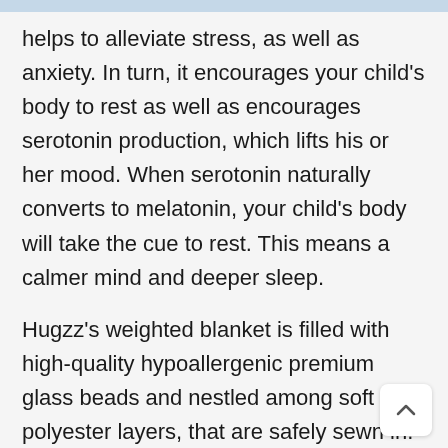helps to alleviate stress, as well as anxiety. In turn, it encourages your child’s body to rest as well as encourages serotonin production, which lifts his or her mood. When serotonin naturally converts to melatonin, your child’s body will take the cue to rest. This means a calmer mind and deeper sleep.
Hugzz’s weighted blanket is filled with high-quality hypoallergenic premium glass beads and nestled among soft polyester layers, that are safely sewn in. The beads stay put in their squares for equal distributions of weight.